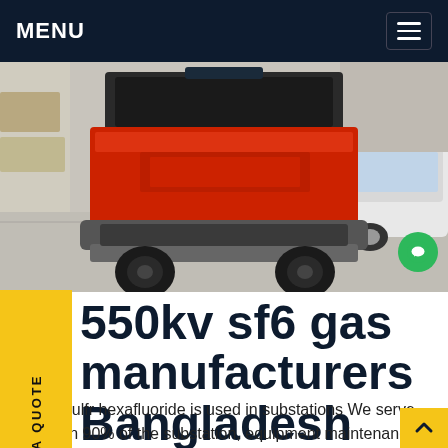MENU
[Figure (photo): Red industrial SF6 gas service equipment/cart on wheels, viewed from rear, parked on concrete with a white car visible in background]
550kv sf6 gas manufacturers Bangladesh
service Sulfr hexafluoride is used in substations We serve more than 90% of the substation, equipment maintenance and fault repair, to ensure the normal